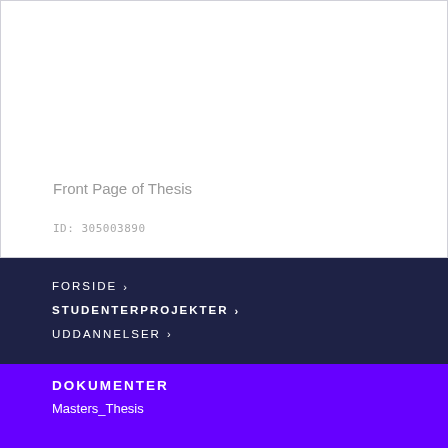Front Page of Thesis
ID: 305003890
FORSIDE ›
STUDENTERPROJEKTER ›
UDDANNELSER ›
DOKUMENTER
Masters_Thesis